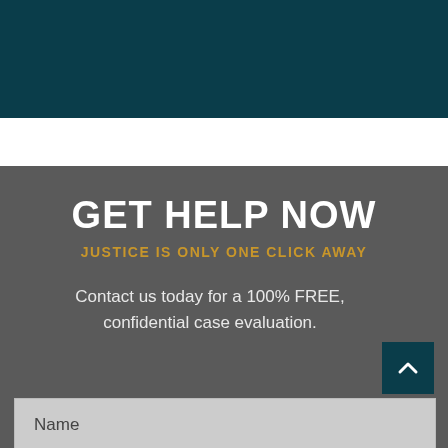[Figure (other): Dark teal banner at top of page]
GET HELP NOW
JUSTICE IS ONLY ONE CLICK AWAY
Contact us today for a 100% FREE, confidential case evaluation.
[Figure (other): Teal scroll-to-top button with upward chevron arrow]
Name